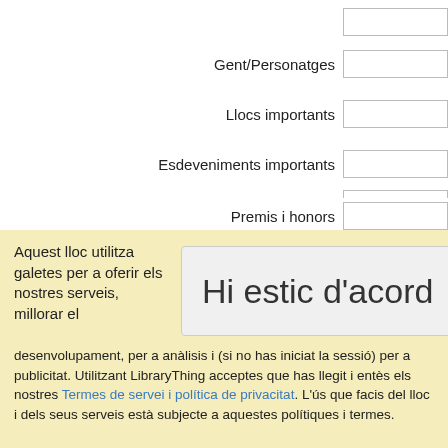Gent/Personatges
Llocs importants
Esdeveniments importants
Pel·lícules relacionades
Premis i honors
Aquest lloc utilitza galetes per a oferir els nostres serveis, millorar el desenvolupament, per a anàlisis i (si no has iniciat la sessió) per a publicitat. Utilitzant LibraryThing acceptes que has llegit i entès els nostres Termes de servei i política de privacitat. L'ús que facis del lloc i dels seus serveis està subjecte a aquestes polítiques i termes.